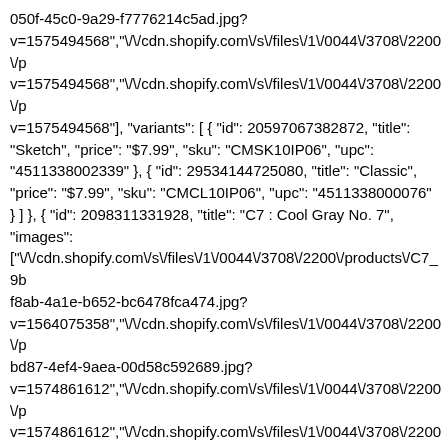050f-45c0-9a29-f7776214c5ad.jpg?v=1575494568","\/\/cdn.shopify.com\/s\/files\/1\/0044\/3708\/2200\/pv=1575494568","\/\/cdn.shopify.com\/s\/files\/1\/0044\/3708\/2200\/pv=1575494568"], "variants": [ { "id": 20597067382872, "title": "Sketch", "price": "$7.99", "sku": "CMSK10IP06", "upc": "4511338002339" }, { "id": 29534144725080, "title": "Classic", "price": "$7.99", "sku": "CMCL10IP06", "upc": "4511338000076" } ] }, { "id": 2098311331928, "title": "C7 : Cool Gray No. 7", "images": ["\/\/cdn.shopify.com\/s\/files\/1\/0044\/3708\/2200\/products\/C7_9bf8ab-4a1e-b652-bc6478fca474.jpg?v=1564075358","\/\/cdn.shopify.com\/s\/files\/1\/0044\/3708\/2200\/pbd87-4ef4-9aea-00d58c592689.jpg?v=1574861612","\/\/cdn.shopify.com\/s\/files\/1\/0044\/3708\/2200\/pv=1574861612","\/\/cdn.shopify.com\/s\/files\/1\/0044\/3708\/2200\/pv=1574861612","\/\/cdn.shopify.com\/s\/files\/1\/0044\/3708\/2200\/p7_f_4511338008218.jpg?v=1574861612"], "variants": [ { "id": 20597067677784, "title": "Sketch", "price": "$7.99", "sku": "CMSK10IP07", "upc": "4511338002346" }, { "id": 20597067710552, "title": "Classic", "price": "$7.99", "sku": "CMCL10IP07", "upc": "4511338000083" }, { "id": 20597067743320, "title": "Ciao", "price": "$5.49", "sku": "CMCI10IP07", "upc": "4511338008218" } ] }, { "id": 2098311397464, "title": "C8 : Cool Gray No. 8", "images": ["\/\/cdn.shopify.com\/s\/files\/1\/0044\/3708\/2200\/products\/C8_a3